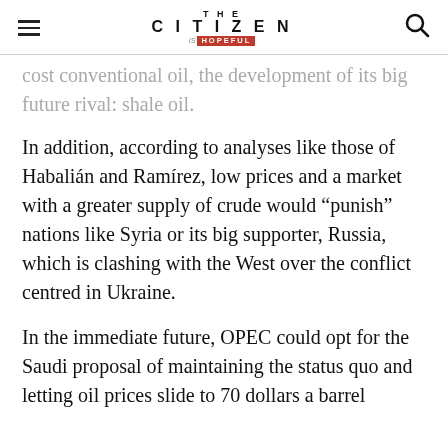THE CITIZEN IS HOPEFUL
cost conventional oil, the development of its big future rival: shale oil.
In addition, according to analyses like those of Habalián and Ramírez, low prices and a market with a greater supply of crude would “punish” nations like Syria or its big supporter, Russia, which is clashing with the West over the conflict centred in Ukraine.
In the immediate future, OPEC could opt for the Saudi proposal of maintaining the status quo and letting oil prices slide to 70 dollars a barrel